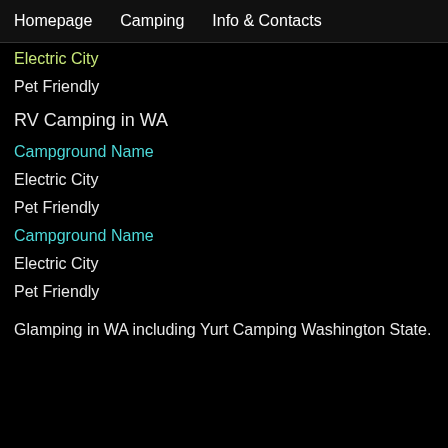Homepage   Camping   Info & Contacts
Electric City
Pet Friendly
RV Camping in WA
Campground Name
Electric City
Pet Friendly
Campground Name
Electric City
Pet Friendly
Glamping in WA including Yurt Camping Washington State.